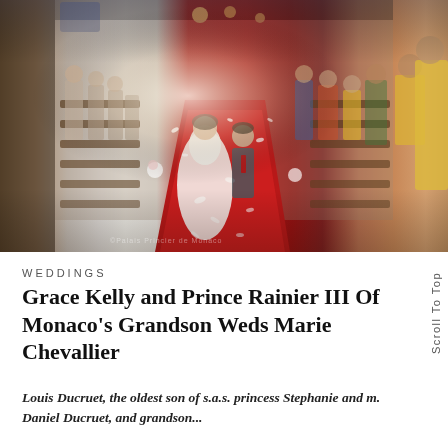[Figure (photo): Wedding photo inside a church. A bride in a white ball gown dress and groom in a grey suit with red tie walk down a red carpet aisle, with guests on both sides throwing white flower petals/confetti. The church interior features ornate woodwork and floral decorations.]
WEDDINGS
Grace Kelly and Prince Rainier III Of Monaco's Grandson Weds Marie Chevallier
Louis Ducruet, the oldest son of s.a.s. princess Stephanie and m. Daniel Ducruet, and grandson...